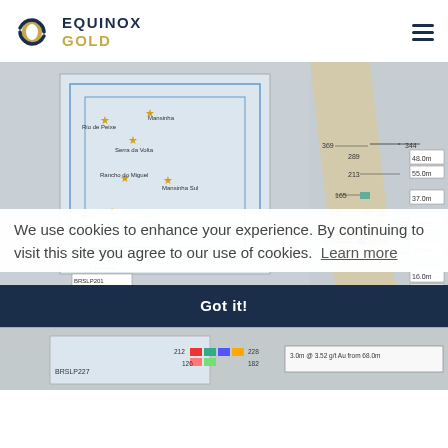EQUINOX GOLD
[Figure (map): Mansinha Sul Target Exploration Results map showing drill hole locations with inset regional map. Drill holes labeled BRSLP187 (16.0m @ 2.30 g/t Au from 34.0m), BRSLP212 (13.0m @ 1.60 g/t Au from 13.0m), and BRSLP227 (3.0m @ 3.52 g/t Au from 68.0m). Depths shown on right: 48.0m, 55.0m, 37.0m, 25.0m, 19.0m, 16.0m, 38.0m.]
We use cookies to enhance your experience. By continuing to visit this site you agree to our use of cookies. Learn more
Got it!